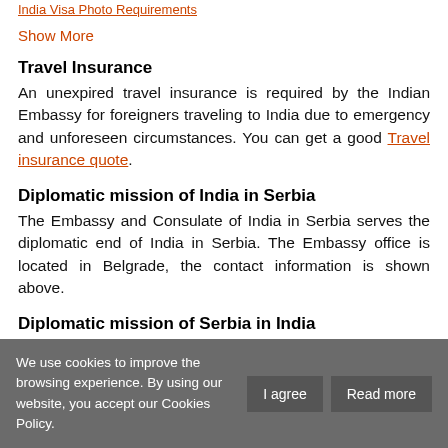India Visa Photo Requirements
Show More
Travel Insurance
An unexpired travel insurance is required by the Indian Embassy for foreigners traveling to India due to emergency and unforeseen circumstances. You can get a good Travel insurance quote.
Diplomatic mission of India in Serbia
The Embassy and Consulate of India in Serbia serves the diplomatic end of India in Serbia. The Embassy office is located in Belgrade, the contact information is shown above.
Diplomatic mission of Serbia in India
The Embassy and Consulate of Serbia in India serves
We use cookies to improve the browsing experience. By using our website, you accept our Cookies Policy. I agree Read more